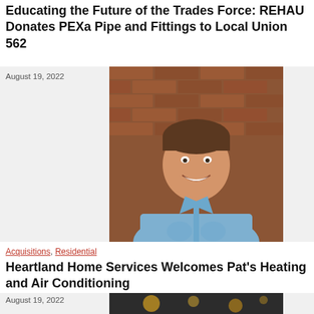Educating the Future of the Trades Force: REHAU Donates PEXa Pipe and Fittings to Local Union 562
August 19, 2022
[Figure (photo): Portrait of a middle-aged man in a light blue dress shirt, smiling, standing in front of a brick wall]
Acquisitions, Residential
Heartland Home Services Welcomes Pat’s Heating and Air Conditioning
August 19, 2022